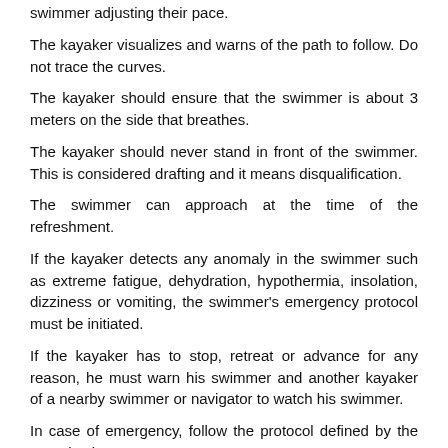swimmer adjusting their pace.
The kayaker visualizes and warns of the path to follow. Do not trace the curves.
The kayaker should ensure that the swimmer is about 3 meters on the side that breathes.
The kayaker should never stand in front of the swimmer. This is considered drafting and it means disqualification.
The swimmer can approach at the time of the refreshment.
If the kayaker detects any anomaly in the swimmer such as extreme fatigue, dehydration, hypothermia, insolation, dizziness or vomiting, the swimmer's emergency protocol must be initiated.
If the kayaker has to stop, retreat or advance for any reason, he must warn his swimmer and another kayaker of a nearby swimmer or navigator to watch his swimmer.
In case of emergency, follow the protocol defined by the organization.
The kayaker must be active in the swimmer's spirits, but he must